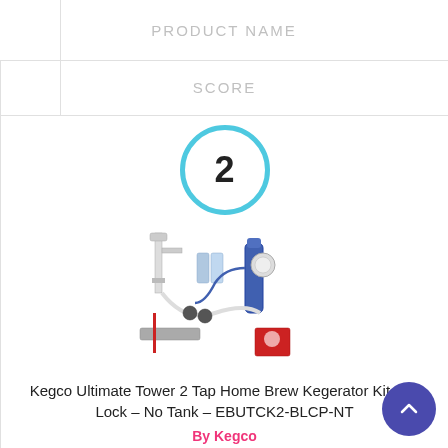PRODUCT NAME
SCORE
[Figure (other): Score badge: large number 2 inside a cyan/light-blue circle]
[Figure (photo): Kegco kegerator kit product photo showing tap tower, tubing, CO2 regulator, and accessories]
Kegco Ultimate Tower 2 Tap Home Brew Kegerator Kit Ball Lock – No Tank – EBUTCK2-BLCP-NT
By Kegco
View Product